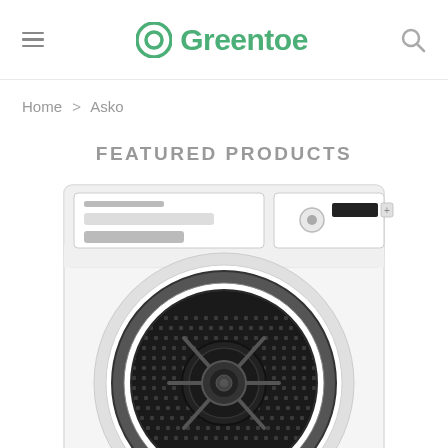Greentoe
Home > Asko
FEATURED PRODUCTS
[Figure (photo): Front-loading ASKO washing machine or dryer, white, with large circular door showing drum interior with dark mesh pattern and central hub. Control panel visible at top with knobs and display.]